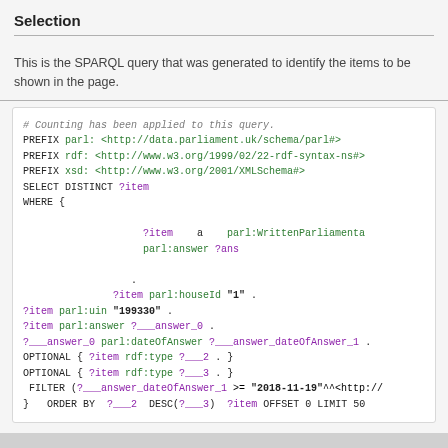Selection
This is the SPARQL query that was generated to identify the items to be shown in the page.
[Figure (screenshot): SPARQL query code block showing a PREFIX and SELECT DISTINCT query for parl:WrittenParliamentary items with filters and ordering]